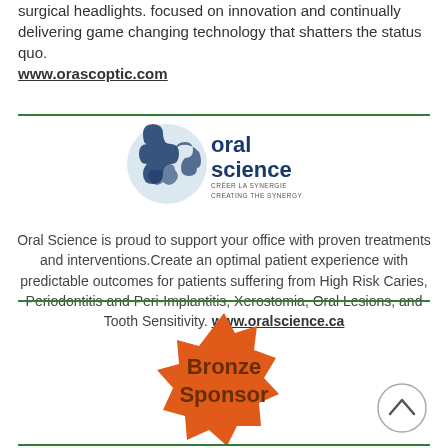surgical headlights. focused on innovation and continually delivering game changing technology that shatters the status quo. www.orascoptic.com
[Figure (logo): Oral Science logo with puzzle piece graphic and tagline 'CRÉER LA SYNERGIE / CREATING THE SYNERGY']
Oral Science is proud to support your office with proven treatments and interventions.Create an optimal patient experience with predictable outcomes for patients suffering from High Risk Caries, Periodontitis and Peri-Implantitis, Xerostomia, Oral Lesions, and Tooth Sensitivity. www.oralscience.ca
[Figure (illustration): Orange starburst badge reading 'Bronze Sponsor']
[Figure (illustration): Circular back-to-top navigation button with upward chevron]